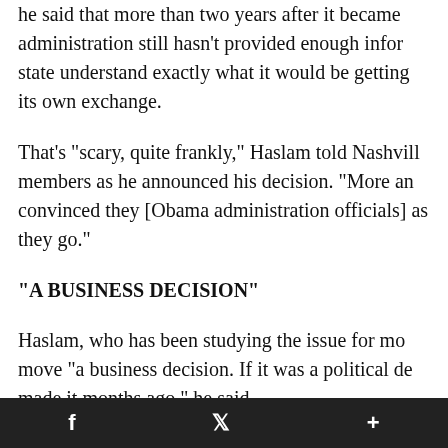he said that more than two years after it became administration still hasn't provided enough infor state understand exactly what it would be getting its own exchange.
That's "scary, quite frankly," Haslam told Nashvill members as he announced his decision. "More an convinced they [Obama administration officials] as they go."
"A BUSINESS DECISION"
Haslam, who has been studying the issue for mo move "a business decision. If it was a political de made it months ago," he said.
f   🐦   +